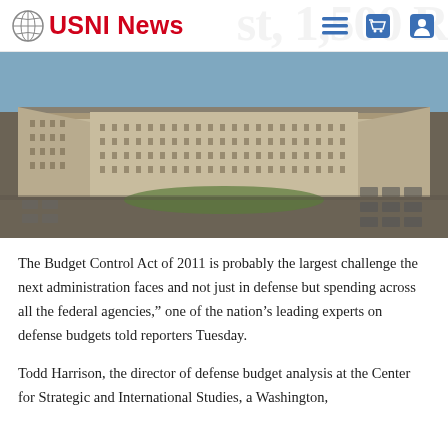USNI News
[Figure (photo): Aerial photograph of the Pentagon building in Arlington, Virginia, showing the five-sided structure with parking lots and surrounding grounds.]
The Budget Control Act of 2011 is probably the largest challenge the next administration faces and not just in defense but spending across all the federal agencies," one of the nation's leading experts on defense budgets told reporters Tuesday.
Todd Harrison, the director of defense budget analysis at the Center for Strategic and International Studies, a Washington, D.C. think tank, said the next administration is in a...